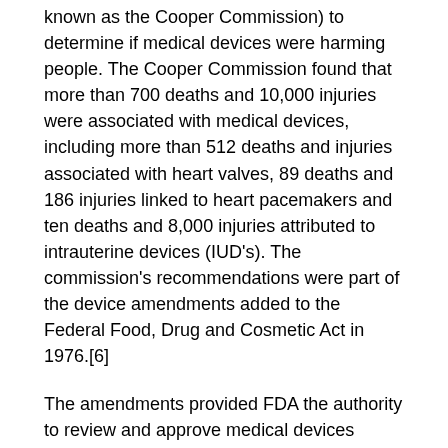known as the Cooper Commission) to determine if medical devices were harming people. The Cooper Commission found that more than 700 deaths and 10,000 injuries were associated with medical devices, including more than 512 deaths and injuries associated with heart valves, 89 deaths and 186 injuries linked to heart pacemakers and ten deaths and 8,000 injuries attributed to intrauterine devices (IUD's). The commission's recommendations were part of the device amendments added to the Federal Food, Drug and Cosmetic Act in 1976.[6]
The amendments provided FDA the authority to review and approve medical devices before they could be sold and marketed in the US. The FDA could ban a device, require manufacturers to notify users of risks and repair or replace products or give refunds. And finally, the FDA could enforce regulations without going to court before proceeding with an action.
In 1994 the FDA proposed a user fee paid by medical device companies in order to defray costs associated with the growing number and complexity of device approval submissions. The Medical Device User Fee Act (MDUFA) was modeled on the 1992 Prescription Drug User Fee Act (PDUFA). However, it was